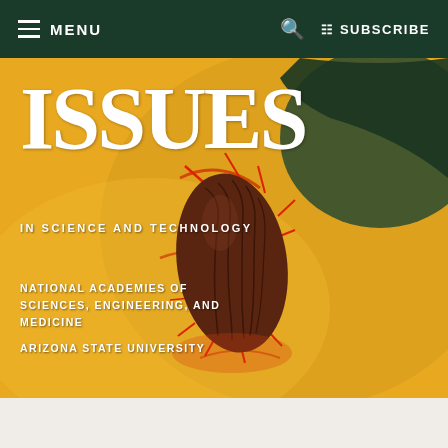MENU  SUBSCRIBE
[Figure (photo): Magazine cover of Issues in Science and Technology showing a close-up artistic image of what appears to be a seed pod or organic form in brown/rust tones against a yellow-orange background, resembling an abstract painting.]
ISSUES
IN SCIENCE AND TECHNOLOGY
NATIONAL ACADEMIES OF SCIENCES, ENGINEERING, AND MEDICINE
ARIZONA STATE UNIVERSITY